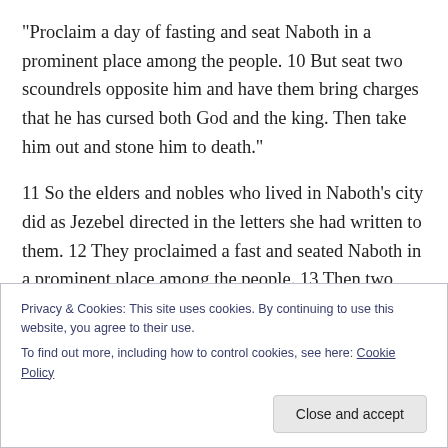“Proclaim a day of fasting and seat Naboth in a prominent place among the people. 10 But seat two scoundrels opposite him and have them bring charges that he has cursed both God and the king. Then take him out and stone him to death.”
11 So the elders and nobles who lived in Naboth’s city did as Jezebel directed in the letters she had written to them. 12 They proclaimed a fast and seated Naboth in a prominent place among the people. 13 Then two scoundrels came and sat opposite him and brought
Privacy & Cookies: This site uses cookies. By continuing to use this website, you agree to their use.
To find out more, including how to control cookies, see here: Cookie Policy
Close and accept